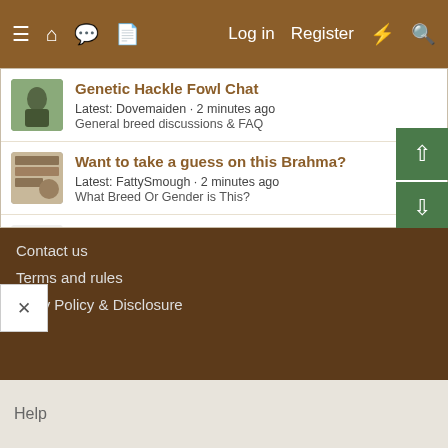≡ 🏠 💬 📄  Log in  Register  ⚡ 🔍
Genetic Hackle Fowl Chat
Latest: Dovemaiden · 2 minutes ago
General breed discussions & FAQ
Want to take a guess on this Brahma?
Latest: FattySmough · 2 minutes ago
What Breed Or Gender is This?
Aggressive HAWK and pen security
Latest: Aunt Angus · 2 minutes ago
Predators and Pests
Contact us
Terms and rules
Privacy Policy & Disclosure
Help